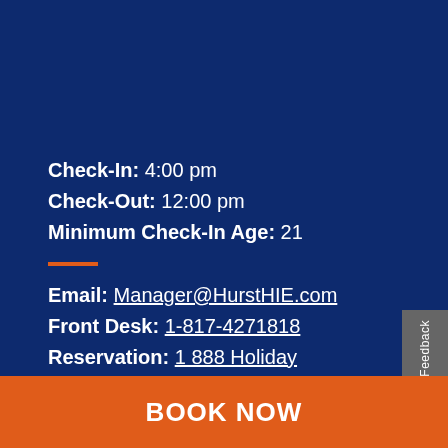Check-In: 4:00 pm
Check-Out: 12:00 pm
Minimum Check-In Age: 21
Email: Manager@HurstHIE.com
Front Desk: 1-817-4271818
Reservation: 1 888 Holiday
Parking & Transportation Details
Feedback
BOOK NOW